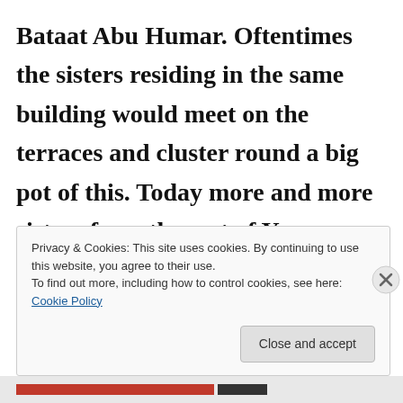Bataat Abu Humar. Oftentimes the sisters residing in the same building would meet on the terraces and cluster round a big pot of this. Today more and more sisters from the rest of Yemen have been introduced to this dish, and so far none
Privacy & Cookies: This site uses cookies. By continuing to use this website, you agree to their use. To find out more, including how to control cookies, see here: Cookie Policy